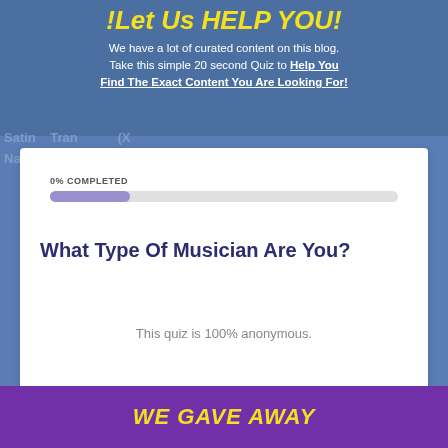!Let Us HELP YOU!
We have a lot of curated content on this blog. Take this simple 20 second Quiz to Help You Find The Exact Content You Are Looking For!
Satin... (partially visible background text)
0% COMPLETED
What Type Of Musician Are You?
This quiz is 100% anonymous.
[Figure (screenshot): Bottom banner with yellow text on purple background reading WE GAVE AWAY]